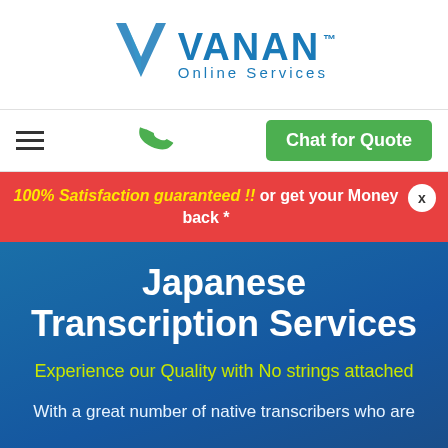[Figure (logo): VANAN Online Services logo with blue V-shaped chevron/bird icon and company name]
hamburger menu | phone icon | Chat for Quote button
100% Satisfaction guaranteed !! or get your Money back *
Japanese Transcription Services
Experience our Quality with No strings attached
With a great number of native transcribers who are